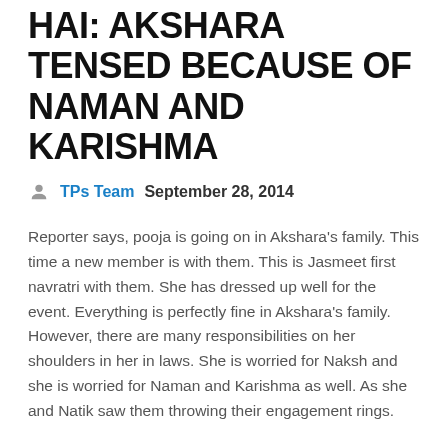HAI: AKSHARA TENSED BECAUSE OF NAMAN AND KARISHMA
TPs Team   September 28, 2014
Reporter says, pooja is going on in Akshara's family. This time a new member is with them. This is Jasmeet first navratri with them. She has dressed up well for the event. Everything is perfectly fine in Akshara's family. However, there are many responsibilities on her shoulders in her in laws. She is worried for Naksh and she is worried for Naman and Karishma as well. As she and Natik saw them throwing their engagement rings.